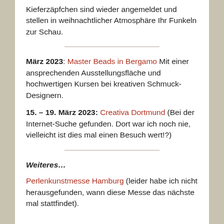Kieferzäpfchen sind wieder angemeldet und stellen in weihnachtlicher Atmosphäre Ihr Funkeln zur Schau.
März 2023: Master Beads in Bergamo Mit einer ansprechenden Ausstellungsfläche und hochwertigen Kursen bei kreativen Schmuck-Designern.
15. – 19. März 2023: Creativa Dortmund (Bei der Internet-Suche gefunden. Dort war ich noch nie, vielleicht ist dies mal einen Besuch wert!?)
Weiteres…
Perlenkunstmesse Hamburg (leider habe ich nicht herausgefunden, wann diese Messe das nächste mal stattfindet).